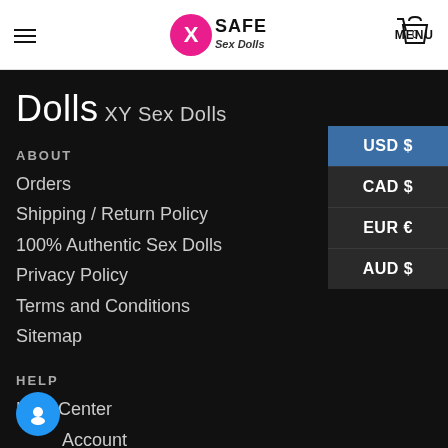MENU | XSafe Sex Dolls | Cart (0)
Dolls XY Sex Dolls
ABOUT
Orders
Shipping / Return Policy
100% Authentic Sex Dolls
Privacy Policy
Terms and Conditions
Sitemap
HELP
Help Center
Account